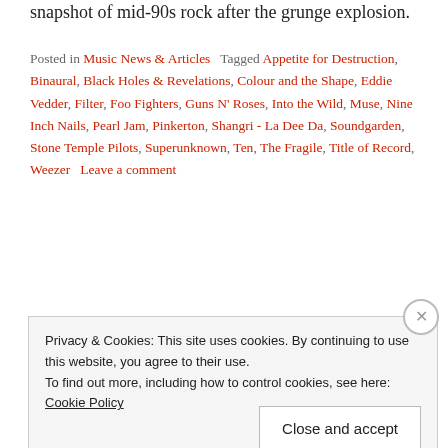snapshot of mid-90s rock after the grunge explosion.
Posted in Music News & Articles  Tagged Appetite for Destruction, Binaural, Black Holes & Revelations, Colour and the Shape, Eddie Vedder, Filter, Foo Fighters, Guns N' Roses, Into the Wild, Muse, Nine Inch Nails, Pearl Jam, Pinkerton, Shangri - La Dee Da, Soundgarden, Stone Temple Pilots, Superunknown, Ten, The Fragile, Title of Record, Weezer  Leave a comment
Metallica Rips Off Pearl Jam
Privacy & Cookies: This site uses cookies. By continuing to use this website, you agree to their use. To find out more, including how to control cookies, see here: Cookie Policy
Close and accept